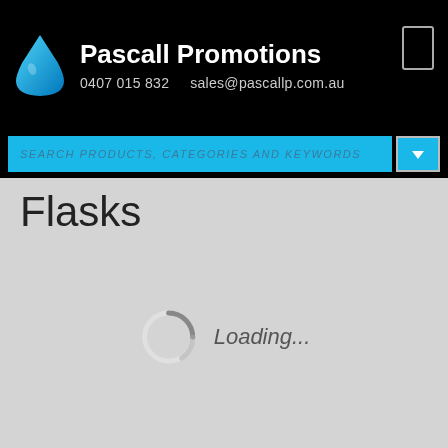Pascall Promotions 0407 015 832 sales@pascallp.com.au
SEARCH PRODUCTS, CATEGORIES AND KEYWORDS
Flasks
Loading...